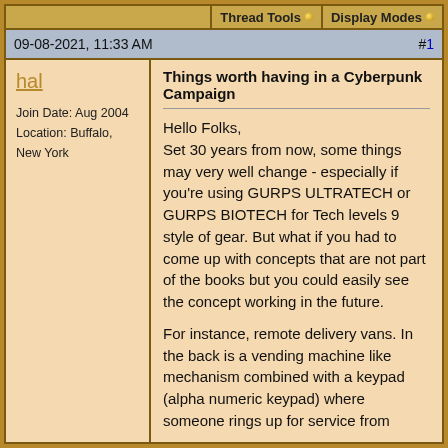Thread Tools | Display Modes
09-08-2021, 11:33 AM  #1
hal
Join Date: Aug 2004
Location: Buffalo, New York
Things worth having in a Cyberpunk Campaign
Hello Folks,
Set 30 years from now, some things may very well change - especially if you're using GURPS ULTRATECH or GURPS BIOTECH for Tech levels 9 style of gear. But what if you had to come up with concepts that are not part of the books but you could easily see the concept working in the future.

For instance, remote delivery vans. In the back is a vending machine like mechanism combined with a keypad (alpha numeric keypad) where someone rings up for service from these delivery vehicles. As such, they're self driving and work within urban environments only. While in transit, they're shut off from